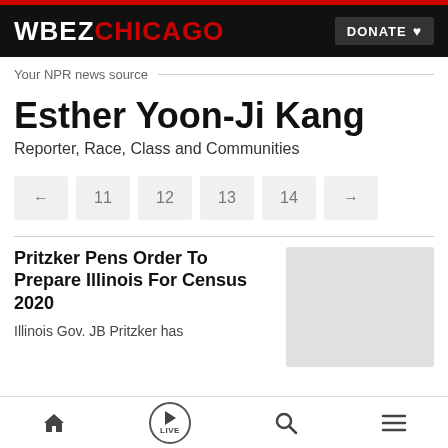WBEZ CHICAGO — DONATE
Your NPR news source
Esther Yoon-Ji Kang
Reporter, Race, Class and Communities
← 11 12 13 14 →
Pritzker Pens Order To Prepare Illinois For Census 2020
Illinois Gov. JB Pritzker has
Home | LIVE | Search | Menu